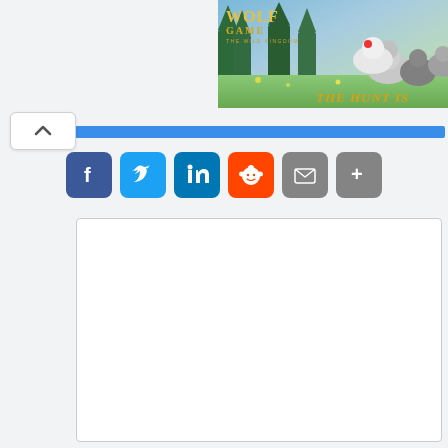[Figure (screenshot): Wolf Game advertisement banner showing wolves in a meadow with trees, text 'Wolf Game The Wild Kingdom' and 'The Hunt Is']
[Figure (other): Blue horizontal navigation/progress bar]
[Figure (other): Scroll-up button with upward chevron arrow]
[Figure (other): Social share buttons row: Facebook, Twitter, LinkedIn, Reddit, Email, Share/More]
[Figure (other): Empty white comment/content box with gray border]